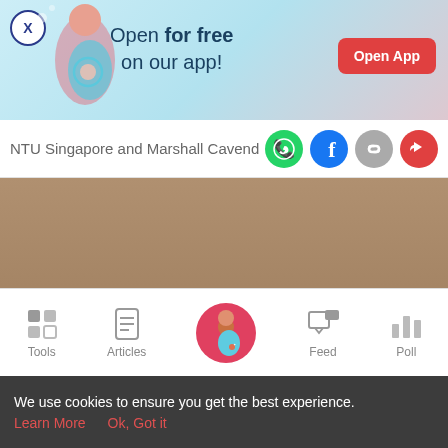[Figure (screenshot): App promotional banner with pregnant woman illustration, text 'Open for free on our app!' and red 'Open App' button]
NTU Singapore and Marshall Cavend
[Figure (screenshot): Share icons: WhatsApp (green), Facebook (blue), link (gray), share (red)]
[Figure (photo): Large brownish/tan content area placeholder]
[Figure (screenshot): Bottom navigation bar with Tools, Articles, Home (pregnant woman icon), Feed, Poll]
We use cookies to ensure you get the best experience.
Learn More   Ok, Got it